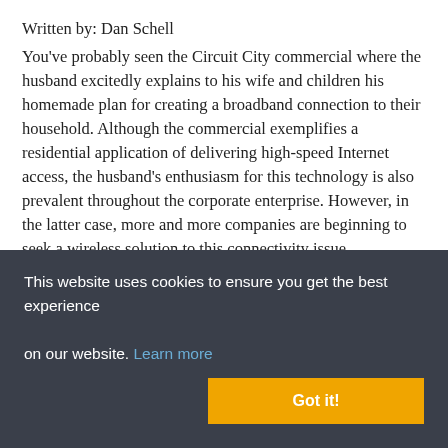Written by: Dan Schell
You've probably seen the Circuit City commercial where the husband excitedly explains to his wife and children his homemade plan for creating a broadband connection to their household. Although the commercial exemplifies a residential application of delivering high-speed Internet access, the husband's enthusiasm for this technology is also prevalent throughout the corporate enterprise. However, in the latter case, more and more companies are beginning to seek a wireless solution to this connectivity issue.
Of course, most companies are already familiar with wireless networking, having deployed wireless local area networks (WLANs). But WLANs only distribute internet access...
This website uses cookies to ensure you get the best experience on our website. Learn more
Got it!